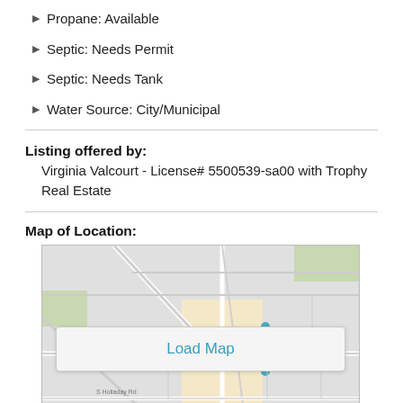Propane: Available
Septic: Needs Permit
Septic: Needs Tank
Water Source: City/Municipal
Listing offered by:
Virginia Valcourt - License# 5500539-sa00 with Trophy Real Estate
Map of Location:
[Figure (map): Street map showing the property location with road network, overlaid with a Load Map button]